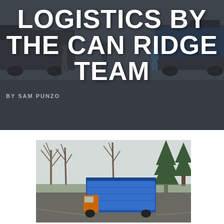LOGISTICS BY THE CAN RIDGE TEAM
BY SAM PUNZO
[Figure (photo): Outdoor scene with bare deciduous trees and tall evergreen pine trees against a pale winter sky. In the lower portion, a large truck with a blue tarp cover is visible on a road surrounded by trees.]